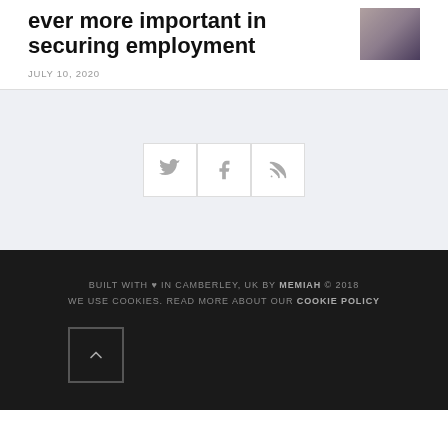ever more important in securing employment
JULY 10, 2020
[Figure (other): Social media icons: Twitter, Facebook, RSS feed on light grey background]
BUILT WITH ♥ IN CAMBERLEY, UK BY MEMIAH © 2018 WE USE COOKIES. READ MORE ABOUT OUR COOKIE POLICY